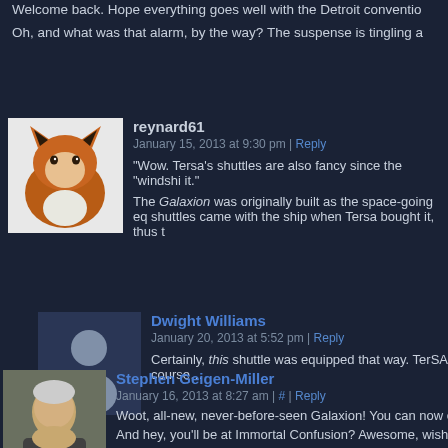Welcome back. Hope everything goes well with the Detroit convention
Oh, and what was that alarm, by the way? The suspense is tingling a
reynard61
January 15, 2013 at 9:30 pm | Reply
“Wow. Tersa’s shuttles are also fancy since the “windshi it.”
The Galaxion was originally built as the space-going eq shuttles came with the ship when Tersa bought it, thus t
[Figure (photo): Avatar photo of reynard61, showing a fox]
Dwight Williams
January 20, 2013 at 5:52 pm | Reply
Certainly, this shuttle was equipped that way. TerSA course…
[Figure (photo): Default user avatar silhouette for Dwight Williams]
[Figure (photo): Avatar photo of Stephen Geigen-Miller, showing a man]
Stephen Geigen-Miller
January 16, 2013 at 8:27 am | # | Reply
Woot, all-new, never-before-seen Galaxion! You can now expect me t
And hey, you’ll be at Immortal Confusion? Awesome, wish I was goin 2014 NASFiC and maybe lend ’em your support. http://detroitin2014.